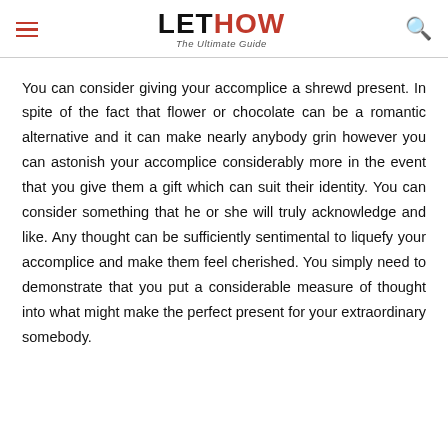LETHOW The Ultimate Guide
You can consider giving your accomplice a shrewd present. In spite of the fact that flower or chocolate can be a romantic alternative and it can make nearly anybody grin however you can astonish your accomplice considerably more in the event that you give them a gift which can suit their identity. You can consider something that he or she will truly acknowledge and like. Any thought can be sufficiently sentimental to liquefy your accomplice and make them feel cherished. You simply need to demonstrate that you put a considerable measure of thought into what might make the perfect present for your extraordinary somebody.